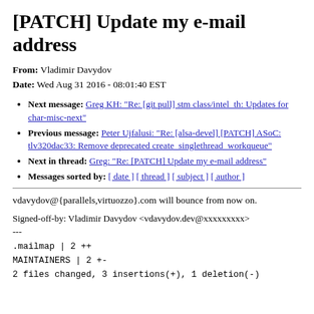[PATCH] Update my e-mail address
From: Vladimir Davydov
Date: Wed Aug 31 2016 - 08:01:40 EST
Next message: Greg KH: "Re: [git pull] stm class/intel_th: Updates for char-misc-next"
Previous message: Peter Ujfalusi: "Re: [alsa-devel] [PATCH] ASoC: tlv320dac33: Remove deprecated create_singlethread_workqueue"
Next in thread: Greg: "Re: [PATCH] Update my e-mail address"
Messages sorted by: [ date ] [ thread ] [ subject ] [ author ]
vdavydov@{parallels,virtuozzo}.com will bounce from now on.
Signed-off-by: Vladimir Davydov <vdavydov.dev@xxxxxxxxx>
---
.mailmap | 2 ++
MAINTAINERS | 2 +-
2 files changed, 3 insertions(+), 1 deletion(-)